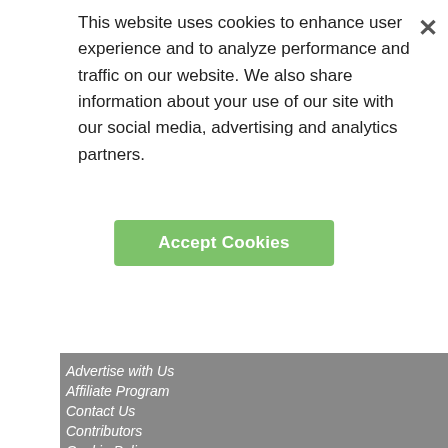This website uses cookies to enhance user experience and to analyze performance and traffic on our website. We also share information about your use of our site with our social media, advertising and analytics partners.
Accept Cookies
Advertise with Us
Affiliate Program
Contact Us
Contributors
Cookie Policy
Do Not Sell My Personal Data
Privacy Policy
Terms
©2022 QualityHealth.com. All rights reserved. The material on the QualityHealth Web site is for informational purposes or other qualified health provider.